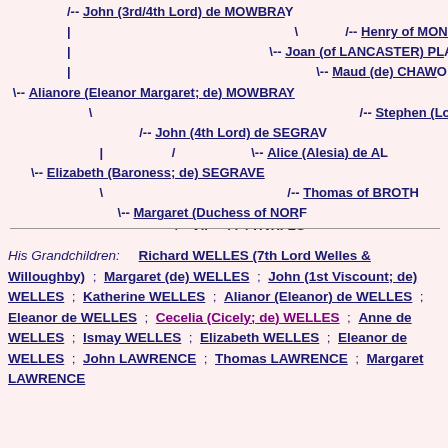[Figure (organizational-chart): Genealogical family tree showing ancestors: John (3rd/4th Lord) de MOWBRAY, Henry of MONMO[UTH], Joan (of LANCASTER) PL[ANTAGENET], Maud (de) CHAW[ORTH], Alianore (Eleanor Margaret; de) MOWBRAY, Stephen (Lord) de [SEGRAVE], John (4th Lord) de SEGRA[VE], Alice (Alesia) de A[LBINI], Elizabeth (Baroness; de) SEGRAVE, Thomas of BROTH[ERTON], Margaret (Duchess of NOR[FOLK]), Alice (de) HAYLES]
His Grandchildren: Richard WELLES (7th Lord Welles & Willoughby) ; Margaret (de) WELLES ; John (1st Viscount; de) WELLES ; Katherine WELLES ; Alianor (Eleanor) de WELLES ; Eleanor de WELLES ; Cecelia (Cicely; de) WELLES ; Anne de WELLES ; Ismay WELLES ; Elizabeth WELLES ; Eleanor de WELLES ; John LAWRENCE ; Thomas LAWRENCE ; Margaret LAWRENCE